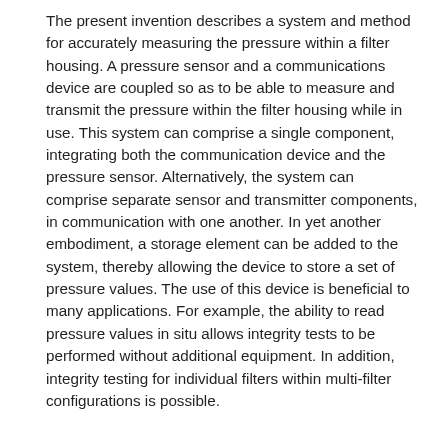The present invention describes a system and method for accurately measuring the pressure within a filter housing. A pressure sensor and a communications device are coupled so as to be able to measure and transmit the pressure within the filter housing while in use. This system can comprise a single component, integrating both the communication device and the pressure sensor. Alternatively, the system can comprise separate sensor and transmitter components, in communication with one another. In yet another embodiment, a storage element can be added to the system, thereby allowing the device to store a set of pressure values. The use of this device is beneficial to many applications. For example, the ability to read pressure values in situ allows integrity tests to be performed without additional equipment. In addition, integrity testing for individual filters within multi-filter configurations is possible.